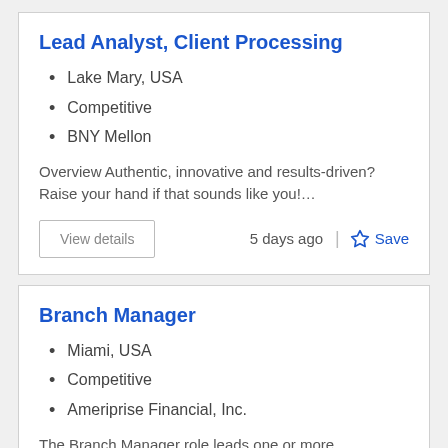Lead Analyst, Client Processing
Lake Mary, USA
Competitive
BNY Mellon
Overview Authentic, innovative and results-driven? Raise your hand if that sounds like you!…
View details
5 days ago
Save
Branch Manager
Miami, USA
Competitive
Ameriprise Financial, Inc.
The Branch Manager role leads one or more Ameriprise branch offices. The…